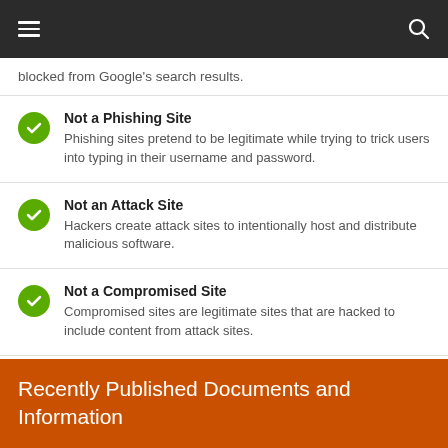Navigation header with menu and search icons
blocked from Google's search results.
Not a Phishing Site – Phishing sites pretend to be legitimate while trying to trick users into typing in their username and password.
Not an Attack Site – Hackers create attack sites to intentionally host and distribute malicious software.
Not a Compromised Site – Compromised sites are legitimate sites that are hacked to include content from attack sites.
Recently Published Documents and Information